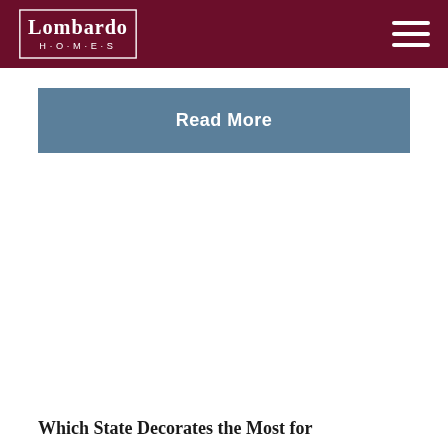Lombardo H·O·M·E·S
Read More
Which State Decorates the Most for